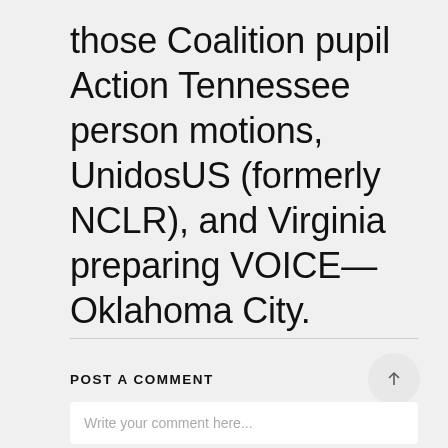those Coalition pupil Action Tennessee person motions, UnidosUS (formerly NCLR), and Virginia preparing VOICE—Oklahoma City.
POST A COMMENT
Write your comment here...